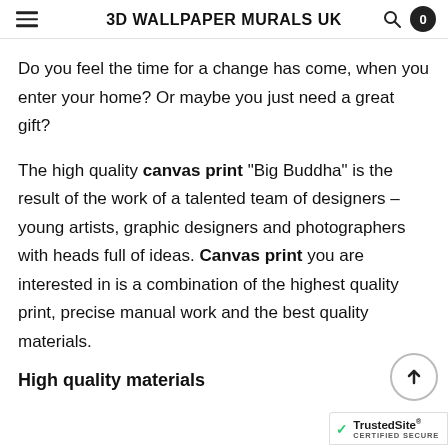3D WALLPAPER MURALS UK
Do you feel the time for a change has come, when you enter your home? Or maybe you just need a great gift?
The high quality canvas print "Big Buddha" is the result of the work of a talented team of designers – young artists, graphic designers and photographers with heads full of ideas. Canvas print you are interested in is a combination of the highest quality print, precise manual work and the best quality materials.
High quality materials